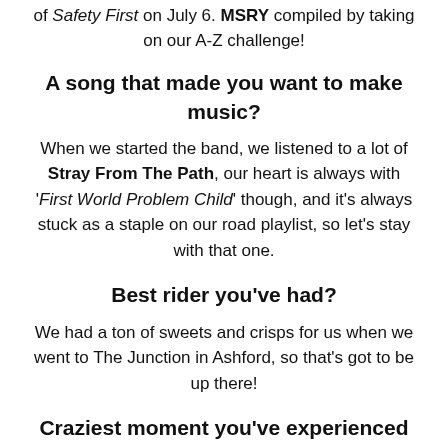of Safety First on July 6. MSRY compiled by taking on our A-Z challenge!
A song that made you want to make music?
When we started the band, we listened to a lot of Stray From The Path, our heart is always with 'First World Problem Child' though, and it's always stuck as a staple on our road playlist, so let's stay with that one.
Best rider you've had?
We had a ton of sweets and crisps for us when we went to The Junction in Ashford, so that's got to be up there!
Craziest moment you've experienced in